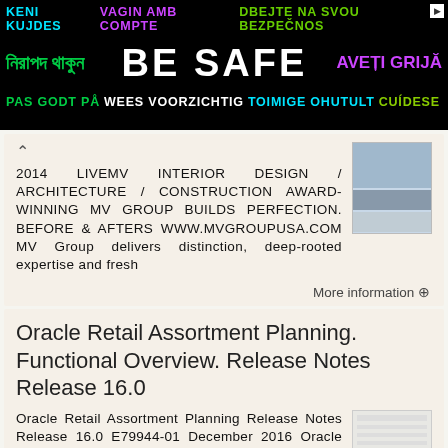[Figure (other): Multilingual safety banner advertisement with text in multiple languages and colors on black background. Row 1: 'KENI KUJDES VAGIN AMB COMPTE DBEJTE NA SVOU BEZPEČNOS' in cyan, purple, green. Row 2: Bengali text, large 'BE SAFE', 'AVEȚI GRIJĂ' in purple. Row 3: 'PAS GODT PÅ WEES VOORZICHTIG TOIMIGE OHUTULT CUÍDESE' in various colors.]
2014 LIVEMV INTERIOR DESIGN / ARCHITECTURE / CONSTRUCTION AWARD-WINNING MV GROUP BUILDS PERFECTION. BEFORE & AFTERS WWW.MVGROUPUSA.COM MV Group delivers distinction, deep-rooted expertise and fresh
[Figure (photo): Small thumbnail image of an interior or architectural design project]
More information ➨
Oracle Retail Assortment Planning. Functional Overview. Release Notes Release 16.0
Oracle Retail Assortment Planning Release Notes Release 16.0 E79944-01 December 2016 Oracle Retail Assortment Planning (AP) Release 16.0 is available only using the RPAS Fusion Client User Interface. Functional
[Figure (screenshot): Small thumbnail of a document page with text]